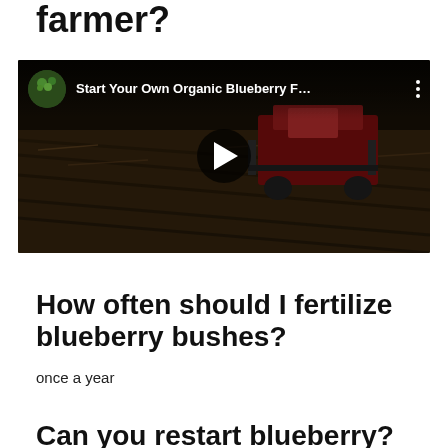farmer?
[Figure (screenshot): YouTube video thumbnail showing a red tractor/harvester machine working in a field with rows of crops. The video title reads 'Start Your Own Organic Blueberry F…' with a circular channel thumbnail and three-dot menu icon.]
How often should I fertilize blueberry bushes?
once a year
Can you restart blueberry?